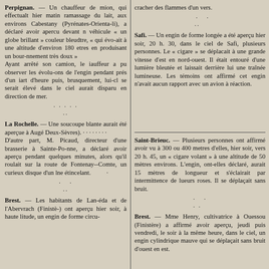Perpignan. — Un chauffeur de mion, qui effectualt hier matin ramassage du lait, aux environs Cabestany (Pyrénates-Orienta-li), a déclaré avoir apercu devant n véhicule « un globe brillant » couleur bleudtre, « qui évo-ait à une altitude d'environ 180 etres en produisant un bour-nnement très doux » Ayant arrêté son camion, le iauffeur a pu observer les évolu-ons de l'engin pendant prés d'un iart d'heure puis, brusquement, lui-cl se serait élevé dans le ciel aurait disparu en direction de mer.
La Rochelle. — Une soucoupe blante aurait été aperçue à Augé Deux-Sèvres). D'autre part, M. Picaud, directeur d'une brasserie à Sainte-Pomme, a déclaré avoir aperçu pendant quelques minutes, alors qu'il roulait sur la route de Fontenay-Comte, un curieux disque d'un lne étincelant.
Brest. — Les habitants de Landéda et de l'Abervrach (Finistère) ont aperçu hier soir, à haute litude, un engin de forme circu-
cracher des flammes d'un vers.
Safi. — Un engin de forme longée a été aperçu hier soir, 20 h. 30, dans le ciel de Safi, plusieurs personnes. Le « cigare » se déplacait à une grande vitesse d'est en nord-ouest. Il était entouré d'une lumière bleutée et laissait derrière lui une traînée lumineuse. Les témoins ont affirmé cet engin n'avait aucun rapport avec un avion à réaction.
Saint-Brieuc. — Plusieurs personnes ont affirmé avoir vu à 300 ou 400 metres d'elles, hier soir, vers 20 h. 45, un « cigare volant » à une altitude de 50 mètres environs. L'engin, ont-elles déclaré, aurait 15 mètres de longueur et s'éclairait par intermittence de lueurs roses. Il se déplaçait sans bruit.
Brest. — Mme Henry, cultivatrice à Ouessou (Finistère) a affirmé avoir aperçu, jeudi puis vendredi, le soir à la même heure, dans le ciel, un engin cylindrique mauve qui se déplaçait sans bruit d'ouest en est.